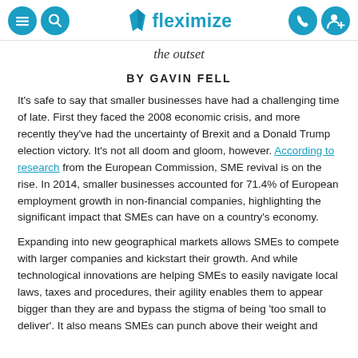fleximize
the outset
BY GAVIN FELL
It's safe to say that smaller businesses have had a challenging time of late. First they faced the 2008 economic crisis, and more recently they've had the uncertainty of Brexit and a Donald Trump election victory. It's not all doom and gloom, however. According to research from the European Commission, SME revival is on the rise. In 2014, smaller businesses accounted for 71.4% of European employment growth in non-financial companies, highlighting the significant impact that SMEs can have on a country's economy.
Expanding into new geographical markets allows SMEs to compete with larger companies and kickstart their growth. And while technological innovations are helping SMEs to easily navigate local laws, taxes and procedures, their agility enables them to appear bigger than they are and bypass the stigma of being 'too small to deliver'. It also means SMEs can punch above their weight and